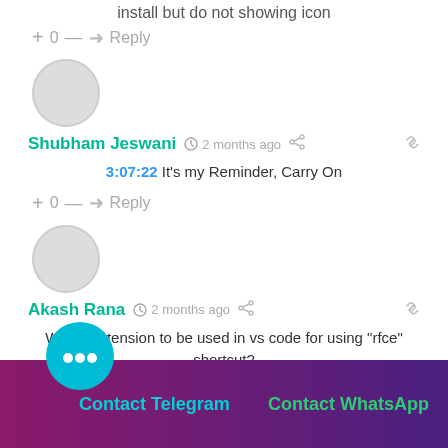install but do not showing icon
+ 0 — ➤ Reply
[Figure (other): User avatar circle placeholder (gray circle) for Shubham Jeswani]
Shubham Jeswani  🕐 2 months ago  🔗
3:07:22 It's my Reminder, Carry On
+ 0 — ➤ Reply
[Figure (other): User avatar circle placeholder (gray circle) for Akash Rana]
Akash Rana  🕐 2 months ago  🔗
Which extension to be used in vs code for using "rfce" shortcut?
+ 0 — ➤ Reply
Contact Telegram   Contact WhatsApp